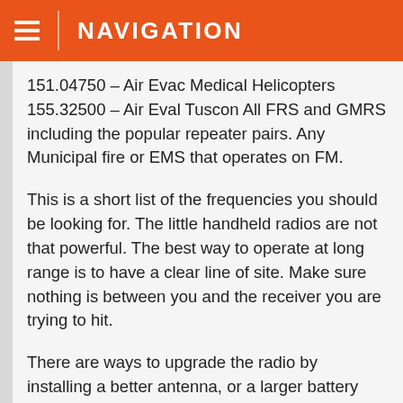NAVIGATION
151.04750 – Air Evac Medical Helicopters 155.32500 – Air Eval Tuscon All FRS and GMRS including the popular repeater pairs. Any Municipal fire or EMS that operates on FM.
This is a short list of the frequencies you should be looking for. The little handheld radios are not that powerful. The best way to operate at long range is to have a clear line of site. Make sure nothing is between you and the receiver you are trying to hit.
There are ways to upgrade the radio by installing a better antenna, or a larger battery pack. As a bikepacker, or hiker you will have to weigh in on what is important to